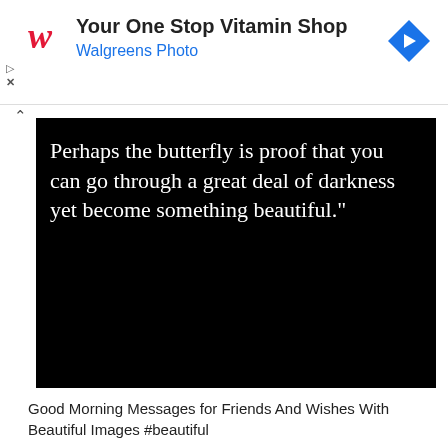[Figure (logo): Walgreens ad banner with red cursive W logo, text 'Your One Stop Vitamin Shop', 'Walgreens Photo' in blue, and a blue diamond arrow icon on the right. Small play and X icons on the left side.]
[Figure (photo): Black background image with white serif text reading: 'Perhaps the butterfly is proof that you can go through a great deal of darkness yet become something beautiful."']
Good Morning Messages for Friends And Wishes With Beautiful Images #beautiful